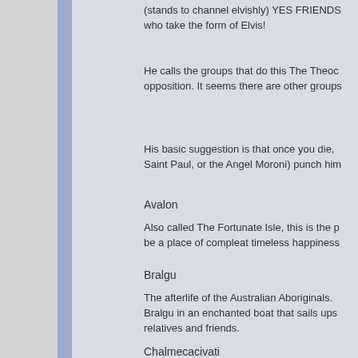(stands to channel elvishly) YES FRIENDS take the form of Elvis!
He calls the groups that do this The Theoc opposition. It seems there are other groups
His basic suggestion is that once you die, Saint Paul, or the Angel Moroni) punch him
Avalon
Also called The Fortunate Isle, this is the p be a place of compleat timeless happiness
Bralgu
The afterlife of the Australian Aboriginals. Bralgu in an enchanted boat that sails ups relatives and friends.
Chalmecacivati